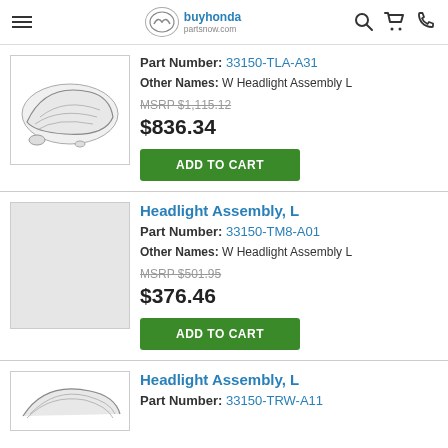buyhondapartsnow.com
Part Number: 33150-TLA-A31
Other Names: W Headlight Assembly L
MSRP $1,115.12
$836.34
ADD TO CART
Headlight Assembly, L
Part Number: 33150-TM8-A01
Other Names: W Headlight Assembly L
MSRP $501.95
$376.46
ADD TO CART
Headlight Assembly, L
Part Number: 33150-TRW-A11